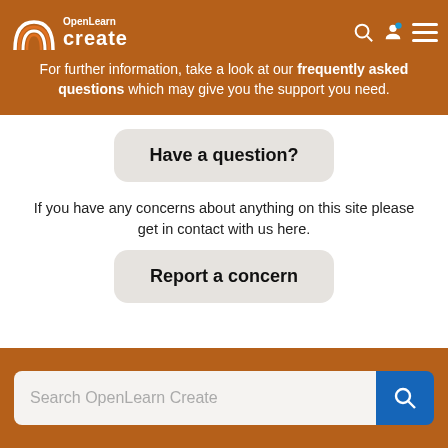OpenLearn Create — navigation header with logo and icons
For further information, take a look at our frequently asked questions which may give you the support you need.
Have a question?
If you have any concerns about anything on this site please get in contact with us here.
Report a concern
Search OpenLearn Create